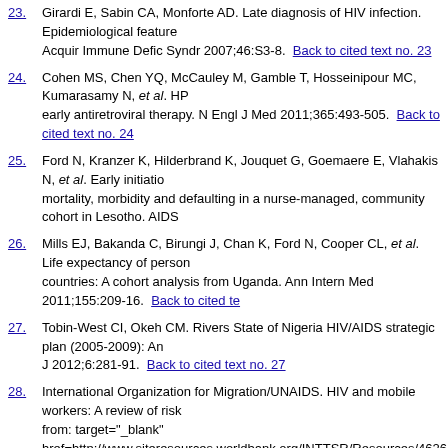23. Girardi E, Sabin CA, Monforte AD. Late diagnosis of HIV infection. Epidemiological features. J Acquir Immune Defic Syndr 2007;46:S3-8. Back to cited text no. 23
24. Cohen MS, Chen YQ, McCauley M, Gamble T, Hosseinipour MC, Kumarasamy N, et al. HPTtn early antiretroviral therapy. N Engl J Med 2011;365:493-505. Back to cited text no. 24
25. Ford N, Kranzer K, Hilderbrand K, Jouquet G, Goemaere E, Vlahakis N, et al. Early initiation mortality, morbidity and defaulting in a nurse-managed, community cohort in Lesotho. AIDS Back to cited text no. 25
26. Mills EJ, Bakanda C, Birungi J, Chan K, Ford N, Cooper CL, et al. Life expectancy of persons countries: A cohort analysis from Uganda. Ann Intern Med 2011;155:209-16. Back to cited text no. 26
27. Tobin-West CI, Okeh CM. Rivers State of Nigeria HIV/AIDS strategic plan (2005-2009): An J 2012;6:281-91. Back to cited text no. 27
28. International Organization for Migration/UNAIDS. HIV and mobile workers: A review of risk from: target="_blank" href=http://www.siteresources.worldbank.org/INTTSR/Resources/4626 Jun 12]. Back to cited text no. 28
29. Dworkin SL, Ehrhardt AA. Going beyond "ABC" to include "GEM": Critical reflections on p 2007;97:13-8. Back to cited text no. 29
30. Coffee M, Lurie MN, Garnett GP. Modelling the impact of migration on the HIV epidemic in Back to cited text no. 30